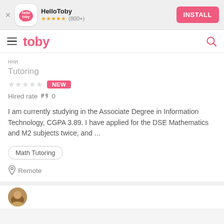[Figure (screenshot): HelloToby app install banner with logo, star rating (800+), and INSTALL button]
[Figure (logo): Toby app navigation bar with hamburger menu, toby logo in pink, and search icon]
нни
Tutoring
★★★★★ NEW
Hired rate 🤜 0
I am currently studying in the Associate Degree in Information Technology, CGPA 3.89. I have applied for the DSE Mathematics and M2 subjects twice, and ...
Math Tutoring
Remote